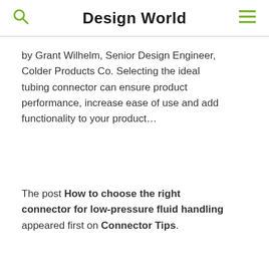Design World
by Grant Wilhelm, Senior Design Engineer, Colder Products Co. Selecting the ideal tubing connector can ensure product performance, increase ease of use and add functionality to your product…
The post How to choose the right connector for low-pressure fluid handling appeared first on Connector Tips.